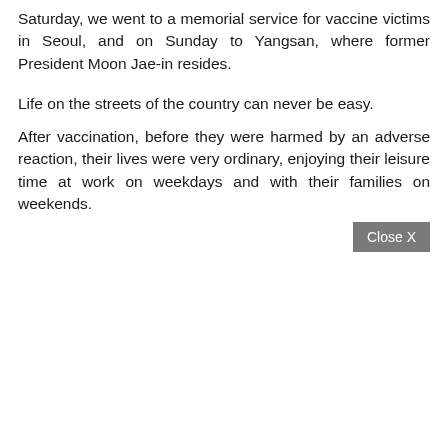Saturday, we went to a memorial service for vaccine victims in Seoul, and on Sunday to Yangsan, where former President Moon Jae-in resides.
Life on the streets of the country can never be easy.
After vaccination, before they were harmed by an adverse reaction, their lives were very ordinary, enjoying their leisure time at work on weekdays and with their families on weekends.